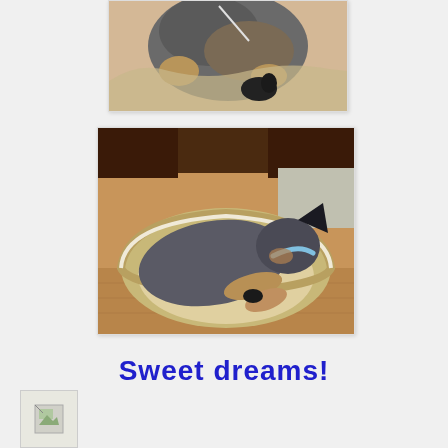[Figure (photo): Top portion of a dog standing in a pet bed, viewed from above, with what appears to be a small black toy/object nearby]
[Figure (photo): A dog (appears to be a German Shepherd puppy) curled up sleeping in a round tan/beige pet bed with white trim, on a wooden floor near dark wooden furniture]
Sweet dreams!
[Figure (photo): Small broken image icon in bottom left corner]